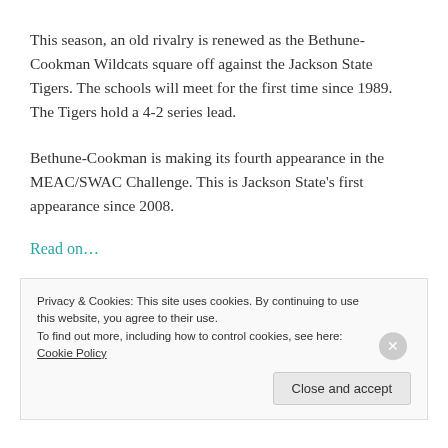This season, an old rivalry is renewed as the Bethune-Cookman Wildcats square off against the Jackson State Tigers. The schools will meet for the first time since 1989. The Tigers hold a 4-2 series lead.
Bethune-Cookman is making its fourth appearance in the MEAC/SWAC Challenge. This is Jackson State's first appearance since 2008.
Read on…
Privacy & Cookies: This site uses cookies. By continuing to use this website, you agree to their use. To find out more, including how to control cookies, see here: Cookie Policy